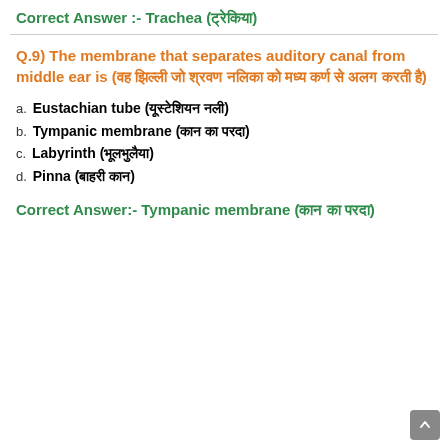Correct Answer :- Trachea (ट्रेकिया)
Q.9)  The membrane that separates auditory canal from middle ear is (वह झिल्ली जो श्रवण नलिका को मध्य कर्ण से अलग करती है)
a. Eustachian tube (यूस्टेशियन नली)
b. Tympanic membrane (कान का परदा)
c. Labyrinth (भूलभुलैया)
d. Pinna (बाहरी कान)
Correct Answer:- Tympanic membrane (कान का परदा)